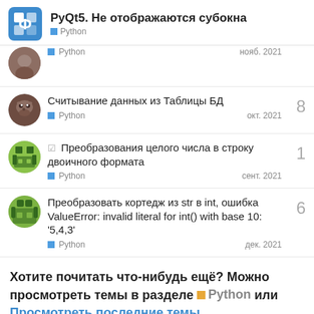PyQt5. Не отображаются субокна — Python
Python — нояб. 2021
Считывание данных из Таблицы БД
Python — окт. 2021 — 8 replies
☑ Преобразования целого числа в строку двоичного формата
Python — сент. 2021 — 1 reply
Преобразовать кортедж из str в int, ошибка ValueError: invalid literal for int() with base 10: '5,4,3'
Python — дек. 2021 — 6 replies
Хотите почитать что-нибудь ещё? Можно просмотреть темы в разделе Python или Просмотреть последние темы.